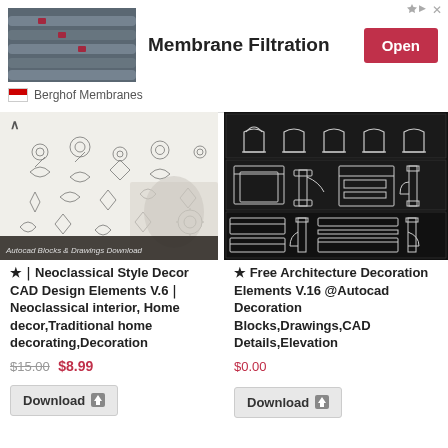[Figure (screenshot): Membrane Filtration advertisement banner with industrial pipe photo, 'Membrane Filtration' title, red 'Open' button, and Berghof Membranes branding]
[Figure (illustration): Neoclassical Style Decor CAD Design Elements thumbnail showing ornamental decoration patterns and classical sculpture]
[Figure (engineering-diagram): Free Architecture Decoration Elements V.16 thumbnail showing CAD drawings of architectural column capitals and moulding profiles on dark background]
★｜Neoclassical Style Decor CAD Design Elements V.6｜Neoclassical interior, Home decor,Traditional home decorating,Decoration
★  Free Architecture Decoration Elements V.16 @Autocad Decoration Blocks,Drawings,CAD Details,Elevation
$15.00 $8.99
$0.00
Download
Download